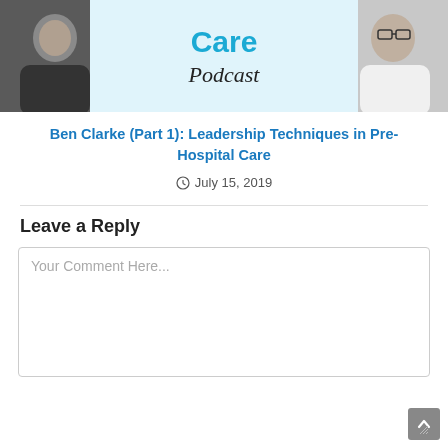[Figure (photo): Pre-Hospital Care Podcast banner image showing two smiling men and the podcast title with 'Care Podcast' text in blue and black italic]
Ben Clarke (Part 1): Leadership Techniques in Pre-Hospital Care
July 15, 2019
Leave a Reply
Your Comment Here...